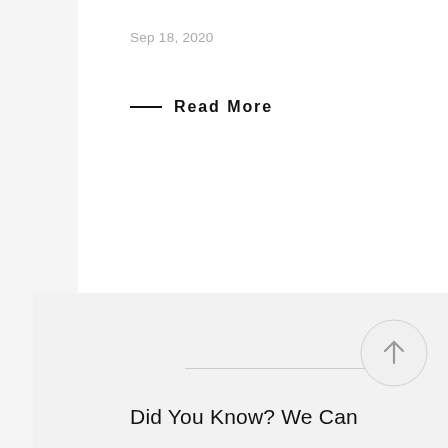Sep 18, 2020
— Read More
[Figure (other): Scroll-to-top circular arrow button with upward arrow icon]
Did You Know? We Can